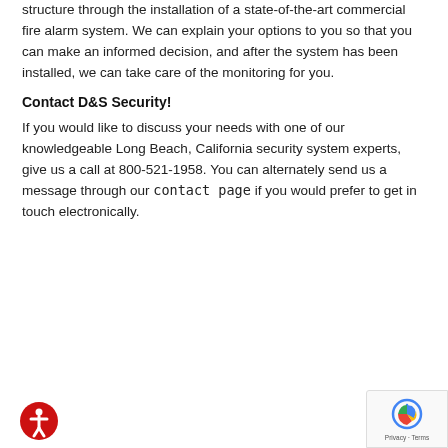structure through the installation of a state-of-the-art commercial fire alarm system. We can explain your options to you so that you can make an informed decision, and after the system has been installed, we can take care of the monitoring for you.
Contact D&S Security!
If you would like to discuss your needs with one of our knowledgeable Long Beach, California security system experts, give us a call at 800-521-1958. You can alternately send us a message through our contact page if you would prefer to get in touch electronically.
[Figure (other): Red circular accessibility icon with white human figure silhouette]
[Figure (other): Google reCAPTCHA badge with arrow logo and Privacy - Terms text]